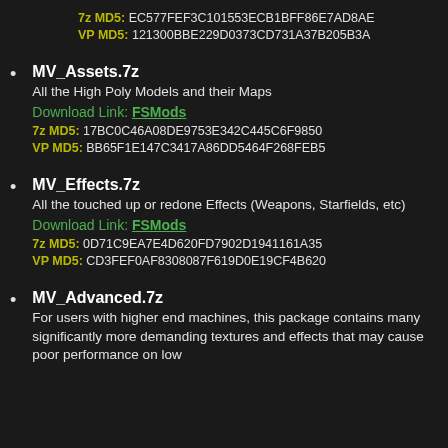7z MD5: EC577FEF3C101553ECB1BFF86E7AD8AE
VP MD5: 121300BBE229D0373CD731A37B205B3A
MV_Assets.7z
All the High Poly Models and their Maps
Download Link: FSMods
7z MD5: 17BC0C46A08DE9753E342C445C6F9850
VP MD5: BB65F1E147C3417A86DD5464F268FEB5
MV_Effects.7z
All the touched up or redone Effects (Weapons, Starfields, etc)
Download Link: FSMods
7z MD5: 0D71C9EA7E4D620FD7902D1941161A35
VP MD5: CD3FEF0AF8308087F619D0E19CF4B620
MV_Advanced.7z
For users with higher end machines, this package contains many significantly more demanding textures and effects that may cause poor performance on low end machines.